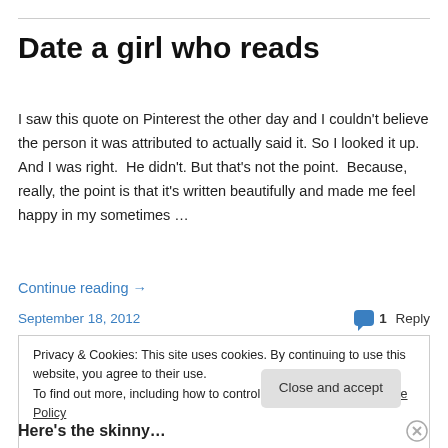Date a girl who reads
I saw this quote on Pinterest the other day and I couldn't believe the person it was attributed to actually said it. So I looked it up.  And I was right.  He didn't. But that's not the point.  Because, really, the point is that it's written beautifully and made me feel happy in my sometimes …
Continue reading →
September 18, 2012   1 Reply
Privacy & Cookies: This site uses cookies. By continuing to use this website, you agree to their use.
To find out more, including how to control cookies, see here: Cookie Policy
Close and accept
Here's the skinny…